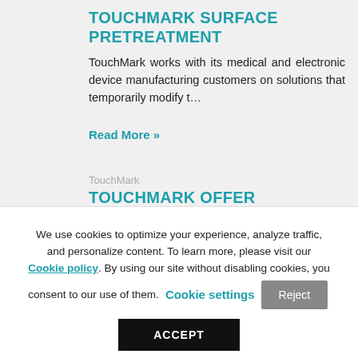TOUCHMARK SURFACE PRETREATMENT
TouchMark works with its medical and electronic device manufacturing customers on solutions that temporarily modify t…
Read More »
TouchMark
TOUCHMARK OFFER ANALYTICAL TESTING SERVICES
Partnering with its customers in research, development and innovation is what sets
We use cookies to optimize your experience, analyze traffic, and personalize content. To learn more, please visit our Cookie policy. By using our site without disabling cookies, you consent to our use of them. Cookie settings Reject ACCEPT